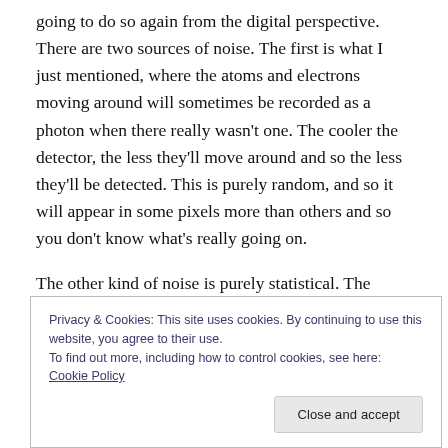going to do so again from the digital perspective. There are two sources of noise. The first is what I just mentioned, where the atoms and electrons moving around will sometimes be recorded as a photon when there really wasn't one. The cooler the detector, the less they'll move around and so the less they'll be detected. This is purely random, and so it will appear in some pixels more than others and so you don't know what's really going on.
The other kind of noise is purely statistical. The recording of photons by digital detectors is a statistical process, and
Privacy & Cookies: This site uses cookies. By continuing to use this website, you agree to their use.
To find out more, including how to control cookies, see here: Cookie Policy
Close and accept
recorded.